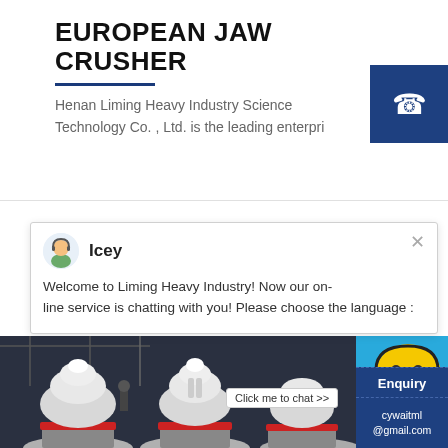EUROPEAN JAW CRUSHER
Henan Liming Heavy Industry Science Technology Co. , Ltd. is the leading enterpri
[Figure (screenshot): Blue square with white telephone/receiver icon]
[Figure (screenshot): Chat popup widget with avatar of agent 'Icey' and message: Welcome to Liming Heavy Industry! Now our on-line service is chatting with you! Please choose the language :]
[Figure (photo): Industrial machinery photo showing large white cone crushers in a factory setting]
[Figure (screenshot): Right sidebar chat widget with yellow smiley face, badge showing '1', and blue background]
Click me to chat >>
Enquiry
cywaitml @gmail.com